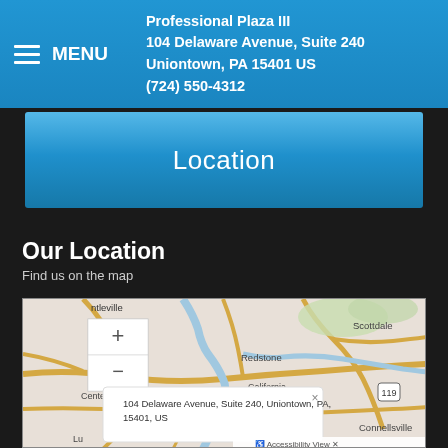Professional Plaza III
104 Delaware Avenue, Suite 240
Uniontown, PA 15401 US
(724) 550-4312
Location
Our Location
Find us on the map
[Figure (map): Street map showing Uniontown PA area with towns including Scottdale, California, Redstone, Centerville, Brownsville, Connellsville, with routes 119 and 51 marked. Zoom +/- controls visible. A popup shows: 104 Delaware Avenue, Suite 240, Uniontown, PA, 15401, US. Accessibility View button visible at bottom.]